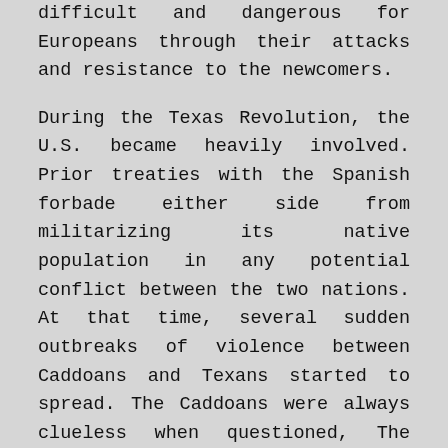difficult and dangerous for Europeans through their attacks and resistance to the newcomers.

During the Texas Revolution, the U.S. became heavily involved. Prior treaties with the Spanish forbade either side from militarizing its native population in any potential conflict between the two nations. At that time, several sudden outbreaks of violence between Caddoans and Texans started to spread. The Caddoans were always clueless when questioned, The Texan and American authorities in the region could never find hard evidence linking them to it and often it was so far-flung from Caddoan lands, it barely made any sense. It seems most likely that these were false-flag attacks meant to start a cascading effect to force the natives under Caddoan influence into armed conflict without breaking any treaties—preferably on the side of the Spanish. While no proof was found as to who the